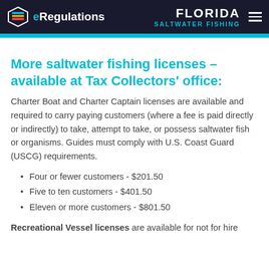eRegulations | FLORIDA SALTWATER FISHING
More saltwater fishing licenses – available at Tax Collectors' office:
Charter Boat and Charter Captain licenses are available and required to carry paying customers (where a fee is paid directly or indirectly) to take, attempt to take, or possess saltwater fish or organisms. Guides must comply with U.S. Coast Guard (USCG) requirements.
Four or fewer customers - $201.50
Five to ten customers - $401.50
Eleven or more customers - $801.50
Recreational Vessel licenses are available for not for hire